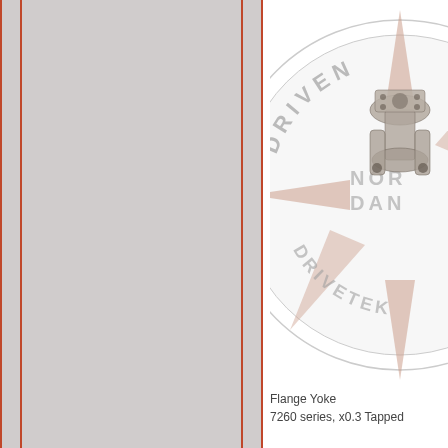[Figure (other): Gray panel with red/orange vertical border lines on left and right edges, plus inner red border lines]
[Figure (logo): Nordan Drivetek company logo watermark circle with triangular star shape, overlaid with a photo of a flange yoke mechanical component]
Flange Yoke
7260 series, x0.3 Tapped